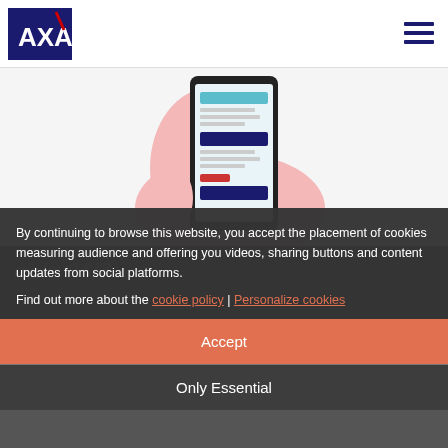[Figure (logo): AXA insurance company logo — white text on dark blue background with red diagonal slash]
[Figure (illustration): Hand holding a smartphone displaying an AXA app interface with blue and red UI elements]
By continuing to browse this website, you accept the placement of cookies measuring audience and offering you videos, sharing buttons and content updates from social platforms.
Find out more about the cookie policy | Personalize cookies
Accept
Only Essential